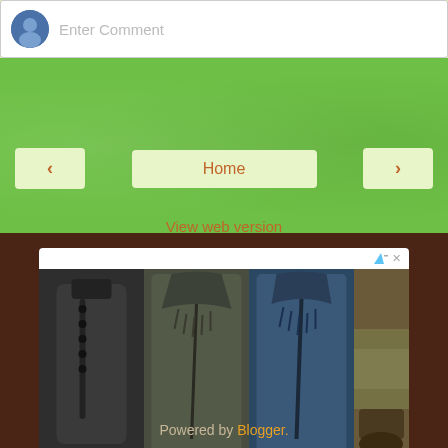[Figure (screenshot): Comment input bar with avatar and 'Enter Comment' placeholder text]
[Figure (screenshot): Green navigation bar with left arrow, Home button, right arrow, and 'View web version' link]
Home
View web version
[Figure (photo): Advertisement showing tactical zipper pocket shirts in dark green and blue colors, plus shoes]
Tactical zipper pocket Shirts
cotosen.com
Powered by Blogger.